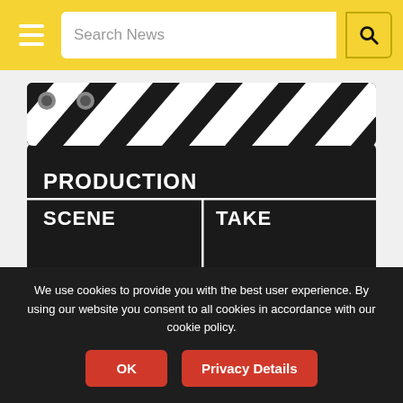Search News
[Figure (illustration): A film production clapperboard (slate) showing PRODUCTION, SCENE, TAKE, and DIRECTOR labels in white text on a black board with a diagonal striped top bar.]
News and Events
The Circus Cinematic Universe — What It Is, and How It Will Advance the Circus Industry
We use cookies to provide you with the best user experience. By using our website you consent to all cookies in accordance with our cookie policy.